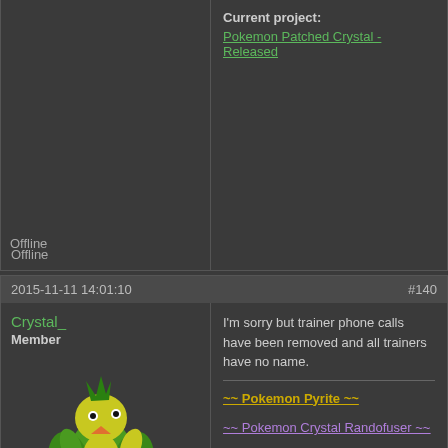Current project:
Pokemon Patched Crystal - Released
Offline
2015-11-11 14:01:10  #140
Crystal_
Member
[Figure (illustration): Pixel art of a green bird Pokemon (Tropius-like) with yellow feathers and pink wings]
From: Spain
Registered: 2012-09-16
Post 339/450
Website
Offline
I'm sorry but trainer phone calls have been removed and all trainers have no name.
~~ Pokemon Pyrite ~~
~~ Pokemon Crystal Randofuser ~~
► My Youtube Channel ◄
2015-11-11 15:09:23  #141